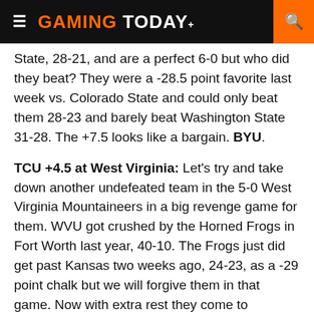GAMING TODAY
State, 28-21, and are a perfect 6-0 but who did they beat? They were a -28.5 point favorite last week vs. Colorado State and could only beat them 28-23 and barely beat Washington State 31-28. The +7.5 looks like a bargain. BYU.
TCU +4.5 at West Virginia: Let's try and take down another undefeated team in the 5-0 West Virginia Mountaineers in a big revenge game for them. WVU got crushed by the Horned Frogs in Fort Worth last year, 40-10. The Frogs just did get past Kansas two weeks ago, 24-23, as a -29 point chalk but we will forgive them in that game. Now with extra rest they come to Morgantown ready to play their A-game. TCU has gone 12-0 ATS off an extra week of rest. We see a close game. TCU.
UCF -2.5 at Connecticut: The Knights are coming off a